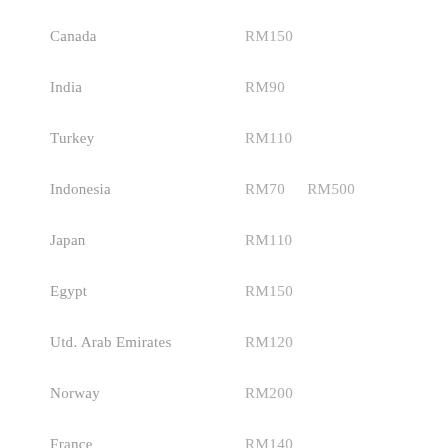Canada    RM150
India    RM90
Turkey    RM110
Indonesia    RM70    RM500
Japan    RM110
Egypt    RM150
Utd. Arab Emirates    RM120
Norway    RM200
France    RM140